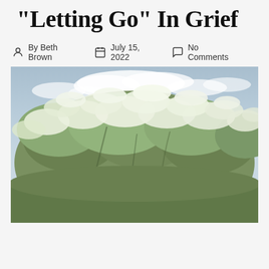“Letting Go” In Grief
By Beth Brown   July 15, 2022   No Comments
[Figure (photo): A large tree or cluster of trees in full white blossom against a partly cloudy blue-grey sky. The tree canopy is dense with white flowers and green-grey foliage filling most of the frame.]